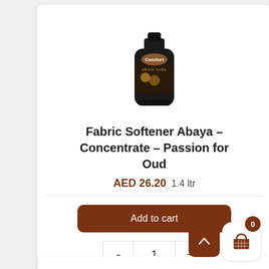[Figure (photo): Comfort Abaya Care fabric softener bottle, black bottle with gold label]
Fabric Softener Abaya – Concentrate – Passion for Oud
AED 26.20 1.4 ltr
Add to cart
- 1 +